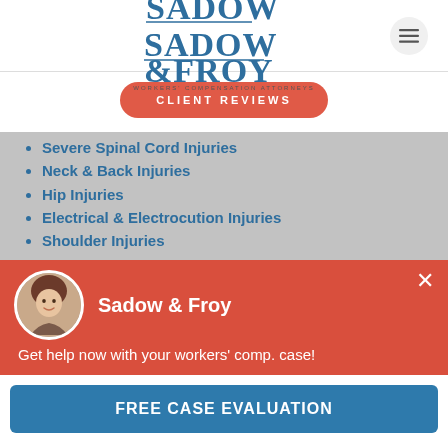[Figure (logo): Sadow & Froy Workers' Compensation Attorneys logo with hamburger menu button]
CLIENT REVIEWS
Severe Spinal Cord Injuries
Neck & Back Injuries
Hip Injuries
Electrical & Electrocution Injuries
Shoulder Injuries
[Figure (photo): Chat widget with woman's photo, Sadow & Froy name, close button, and message: Get help now with your workers' comp. case!]
FREE CASE EVALUATION